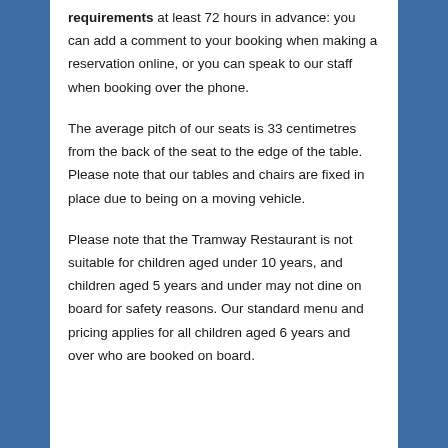requirements at least 72 hours in advance: you can add a comment to your booking when making a reservation online, or you can speak to our staff when booking over the phone.
The average pitch of our seats is 33 centimetres from the back of the seat to the edge of the table. Please note that our tables and chairs are fixed in place due to being on a moving vehicle.
Please note that the Tramway Restaurant is not suitable for children aged under 10 years, and children aged 5 years and under may not dine on board for safety reasons. Our standard menu and pricing applies for all children aged 6 years and over who are booked on board.